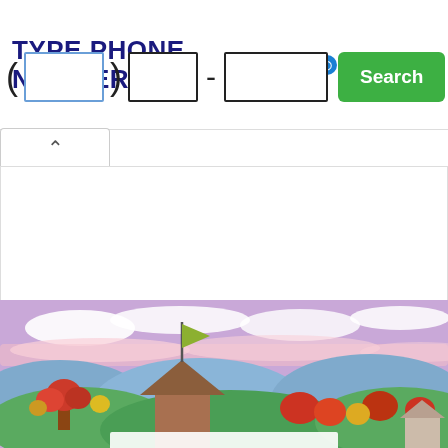TYPE PHONE NUMBER
[Figure (screenshot): BeenVerified logo and powered by text in top right corner]
[Figure (screenshot): Phone number input form with area code, prefix, and line number fields plus a green Search button]
[Figure (illustration): Colorful illustrated landscape banner at the bottom of the page showing hills, trees, buildings with a flag, and clouds against a purple sky, partially cropped]